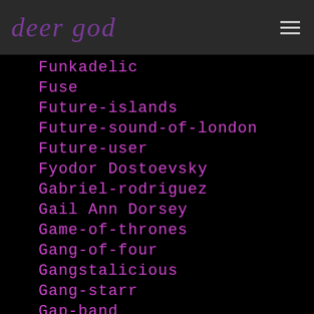deer god
Funkadelic
Fuse
Future-islands
Future-sound-of-london
Future-user
Fyodor Dostoevsky
Gabriel-rodriguez
Gail Ann Dorsey
Game-of-thrones
Gang-of-four
Gangstalicious
Gang-starr
Gap-band
Garagerock
Garage Rock
Garagerockf24b8350d2
Garbage